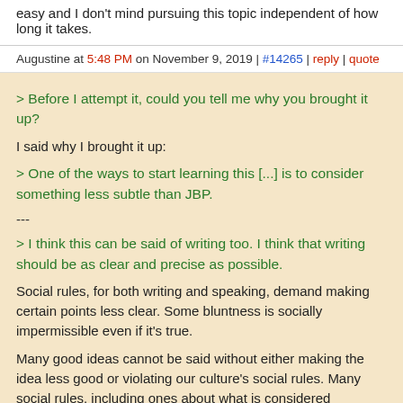easy and I don't mind pursuing this topic independent of how long it takes.
Augustine at 5:48 PM on November 9, 2019 | #14265 | reply | quote
> Before I attempt it, could you tell me why you brought it up?
I said why I brought it up:
> One of the ways to start learning this [...] is to consider something less subtle than JBP.
---
> I think this can be said of writing too. I think that writing should be as clear and precise as possible.
Social rules, for both writing and speaking, demand making certain points less clear. Some bluntness is socially impermissible even if it's true.
Many good ideas cannot be said without either making the idea less good or violating our culture's social rules. Many social rules, including ones about what is considered charismatic, are irrational and in direct conflict with truth, reason, etc.
And you shouldn't be focusing on what is theoretically possible, you